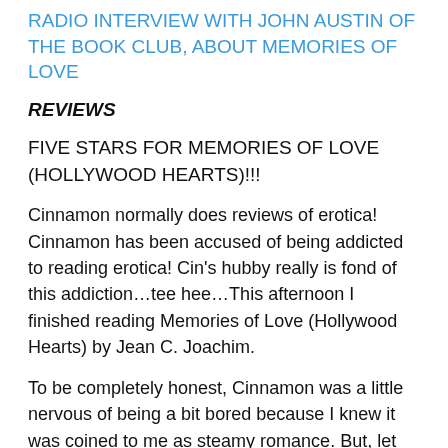RADIO INTERVIEW WITH JOHN AUSTIN OF THE BOOK CLUB, ABOUT MEMORIES OF LOVE
REVIEWS
FIVE STARS FOR MEMORIES OF LOVE (HOLLYWOOD HEARTS)!!!
Cinnamon normally does reviews of erotica! Cinnamon has been accused of being addicted to reading erotica! Cin's hubby really is fond of this addiction…tee hee…This afternoon I finished reading Memories of Love (Hollywood Hearts) by Jean C. Joachim.
To be completely honest, Cinnamon was a little nervous of being a bit bored because I knew it was coined to me as steamy romance. But, let me tell you this book is AMAZING!!!